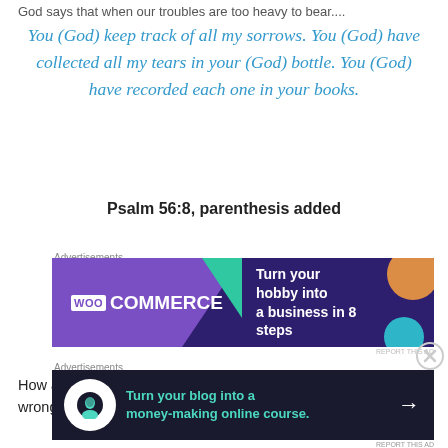God says that when our troubles are too heavy to bear....
You (God) keep track of all my sorrows. You (God) have collected all my tears in your (God) bottle. You (God) have recorded each one in your books.
Psalm 56:8, parenthesis added
Advertisements
[Figure (other): WooCommerce advertisement banner: Turn your hobby into a business in 8 steps]
REPORT THIS AD
How awesome is it to know that not only are we forgiven for our wrong doings, but we are also loved so much that
Advertisements
[Figure (other): Advertisement banner: Turn your blog into a money-making online course with arrow button]